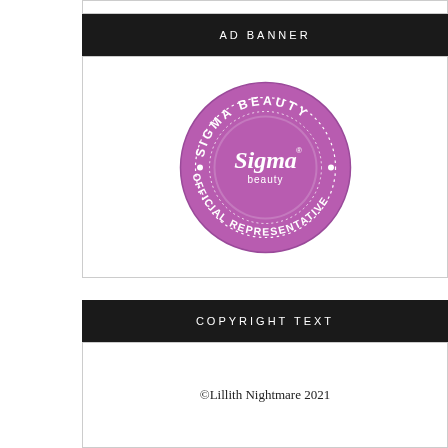AD BANNER
[Figure (logo): Sigma Beauty Official Representative circular badge/stamp in purple with white text reading SIGMA BEAUTY OFFICIAL REPRESENTATIVE around the border and Sigma beauty logo in center]
COPYRIGHT TEXT
©Lillith Nightmare 2021